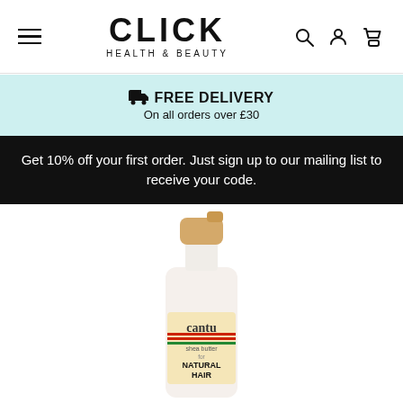CLICK HEALTH & BEAUTY — navigation bar with hamburger menu, logo, search, account, and cart icons
🚚 FREE DELIVERY
On all orders over £30
Get 10% off your first order. Just sign up to our mailing list to receive your code.
[Figure (photo): Cantu Shea Butter for Natural Hair spray bottle in white with a gold pump top, partially visible showing the label with cantu branding]